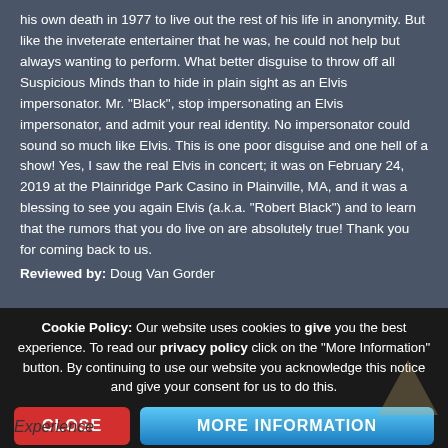his own death in 1977 to live out the rest of his life in anonymity. But like the inveterate entertainer that he was, he could not help but always wanting to perform. What better disguise to throw off all Suspicious Minds than to hide in plain sight as an Elvis impersonator. Mr. "Black", stop impersonating an Elvis impersonator, and admit your real identity. No impersonator could sound so much like Elvis. This is one poor disguise and one hell of a show! Yes, I saw the real Elvis in concert; it was on February 24, 2019 at the Plainridge Park Casino in Plainville, MA, and it was a blessing to see you again Elvis (a.k.a. "Robert Black") and to learn that the rumors that you do live on are absolutely true! Thank you for coming back to us.
Reviewed by: Doug Van Gorder
Cookie Policy: Our website uses cookies to give you the best experience. To read our privacy policy click on the "More Information" button. By continuing to use our website you acknowledge this notice and give your consent for us to do this.